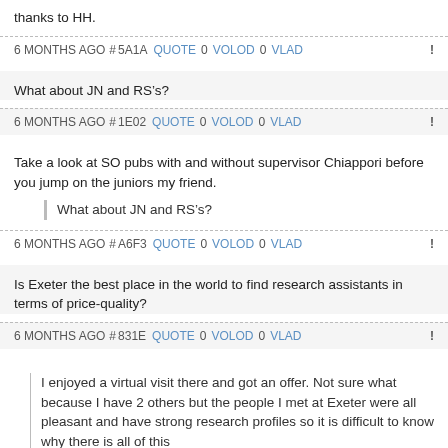thanks to HH.
6 MONTHS AGO # 5A1A QUOTE 0 VOLOD 0 VLAD !
What about JN and RS's?
6 MONTHS AGO # 1E02 QUOTE 0 VOLOD 0 VLAD !
Take a look at SO pubs with and without supervisor Chiappori before you jump on the juniors my friend.
What about JN and RS's?
6 MONTHS AGO # A6F3 QUOTE 0 VOLOD 0 VLAD !
Is Exeter the best place in the world to find research assistants in terms of price-quality?
6 MONTHS AGO # 831E QUOTE 0 VOLOD 0 VLAD !
I enjoyed a virtual visit there and got an offer. Not sure what because I have 2 others but the people I met at Exeter were all pleasant and have strong research profiles so it is difficult to know why there is all of this